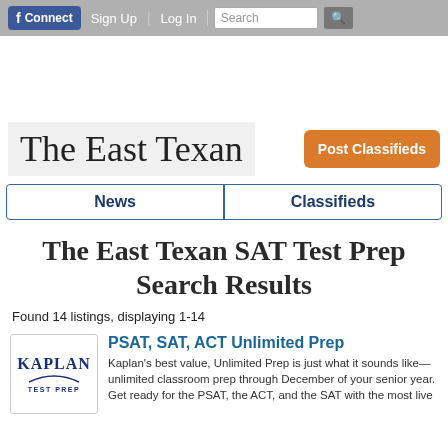f Connect | Sign Up | Log In | Search
The East Texan
Post Classifieds
News   Classifieds
The East Texan SAT Test Prep Search Results
Found 14 listings, displaying 1-14
PSAT, SAT, ACT Unlimited Prep
Kaplan's best value, Unlimited Prep is just what it sounds like—unlimited classroom prep through December of your senior year. Get ready for the PSAT, the ACT, and the SAT with the most live